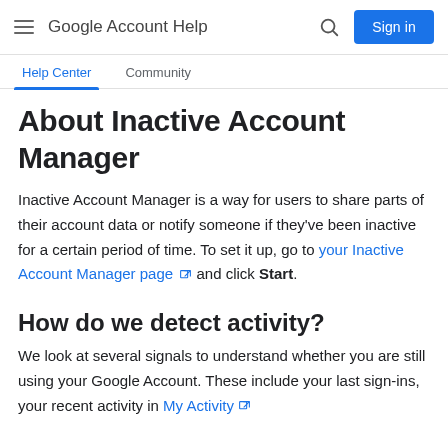Google Account Help — Sign in
Help Center  Community
About Inactive Account Manager
Inactive Account Manager is a way for users to share parts of their account data or notify someone if they've been inactive for a certain period of time. To set it up, go to your Inactive Account Manager page and click Start.
How do we detect activity?
We look at several signals to understand whether you are still using your Google Account. These include your last sign-ins, your recent activity in My Activity